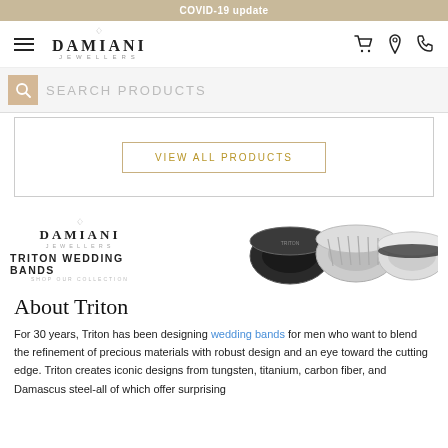COVID-19 update
[Figure (logo): Damiani Jewellers logo with hamburger menu and navigation icons (cart, location, phone)]
SEARCH PRODUCTS
VIEW ALL PRODUCTS
[Figure (photo): Damiani Jewellers - Triton Wedding Bands banner with three men's rings on right side]
About Triton
For 30 years, Triton has been designing wedding bands for men who want to blend the refinement of precious materials with robust design and an eye toward the cutting edge. Triton creates iconic designs from tungsten, titanium, carbon fiber, and Damascus steel-all of which offer surprising